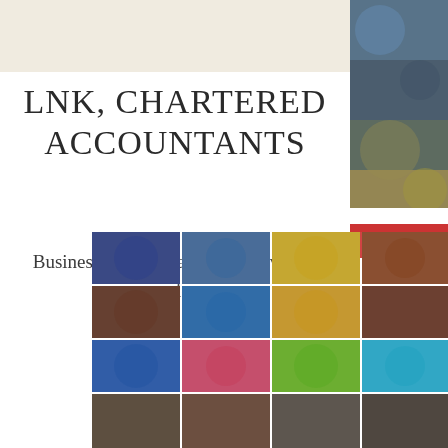LNK, CHARTERED ACCOUNTANTS
Business administration and advisory services
[Figure (photo): Top right vertical photo strip showing blurred colorful images]
[Figure (photo): Bottom large blurred colorful grid of app icons or similar colorful squares]